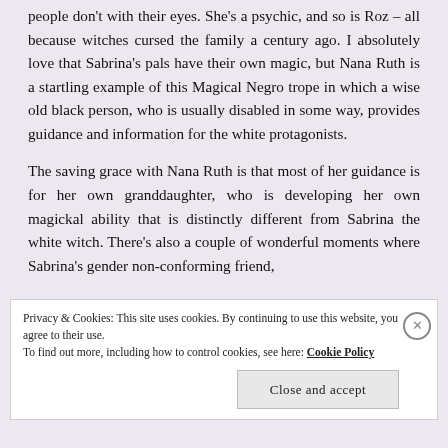people don't with their eyes. She's a psychic, and so is Roz – all because witches cursed the family a century ago. I absolutely love that Sabrina's pals have their own magic, but Nana Ruth is a startling example of this Magical Negro trope in which a wise old black person, who is usually disabled in some way, provides guidance and information for the white protagonists.
The saving grace with Nana Ruth is that most of her guidance is for her own granddaughter, who is developing her own magickal ability that is distinctly different from Sabrina the white witch. There's also a couple of wonderful moments where Sabrina's gender non-conforming friend,
Privacy & Cookies: This site uses cookies. By continuing to use this website, you agree to their use. To find out more, including how to control cookies, see here: Cookie Policy
Close and accept